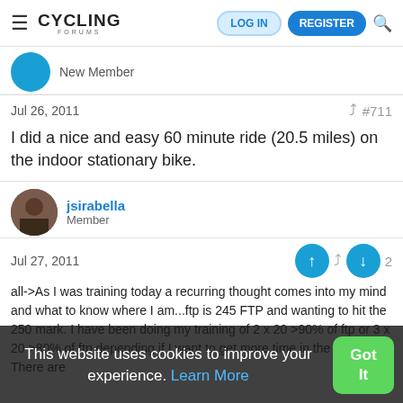Cycling Forums — LOG IN | REGISTER
New Member
Jul 26, 2011  #711
I did a nice and easy 60 minute ride (20.5 miles) on the indoor stationary bike.
jsirabella
Member
Jul 27, 2011
all->As I was training today a recurring thought comes into my mind and what to know where I am...ftp is 245 FTP and wanting to hit the 250 mark. I have been doing my training of 2 x 20 >90% of ftp or 3 x 20 >80% of ftp depending if I want to get more time in the saddle. There are
This website uses cookies to improve your experience. Learn More  Got It